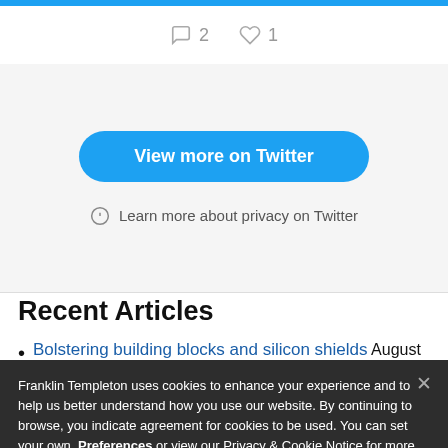[Figure (screenshot): Twitter widget interaction icons row showing comment count 2 and like count 1]
[Figure (screenshot): Twitter widget 'View more on Twitter' blue button and privacy info link]
Recent Articles
Bolstering building blocks and silicon shields August
Franklin Templeton uses cookies to enhance your experience and to help us better understand how you use our website. By continuing to browse, you indicate agreement for cookies to be used. You can set your own Preferences or view our Privacy & Cookie Notice for more information. Privacy & Cookie Notices
OK